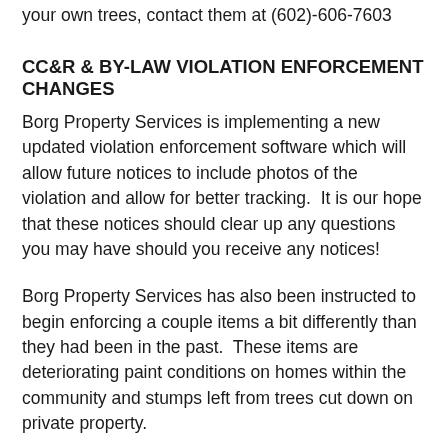your own trees, contact them at (602)-606-7603
CC&R & BY-LAW VIOLATION ENFORCEMENT CHANGES
Borg Property Services is implementing a new updated violation enforcement software which will allow future notices to include photos of the violation and allow for better tracking.  It is our hope that these notices should clear up any questions you may have should you receive any notices!
Borg Property Services has also been instructed to begin enforcing a couple items a bit differently than they had been in the past.  These items are deteriorating paint conditions on homes within the community and stumps left from trees cut down on private property.
With the homes aging in the community, the structures